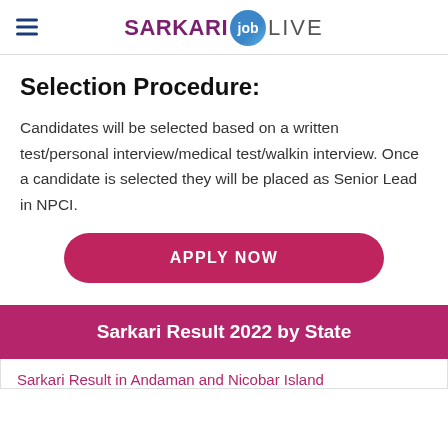SARKARI job LIVE
Selection Procedure:
Candidates will be selected based on a written test/personal interview/medical test/walkin interview. Once a candidate is selected they will be placed as Senior Lead in NPCI.
[Figure (other): APPLY NOW button - a large rounded pink/crimson button with white bold text]
Sarkari Result 2022 by State
Sarkari Result in Andaman and Nicobar Island